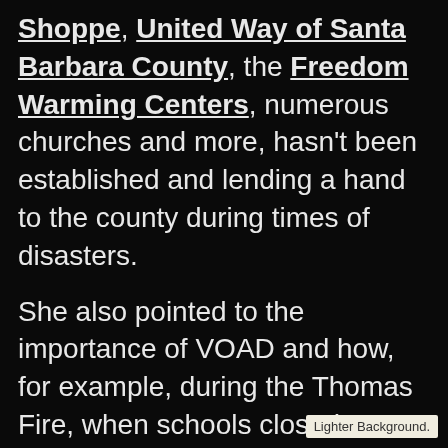Shoppe, United Way of Santa Barbara County, the Freedom Warming Centers, numerous churches and more, hasn't been established and lending a hand to the county during times of disasters.

She also pointed to the importance of VOAD and how, for example, during the Thomas Fire, when schools closed because of air-quality concerns, many parents were left without food for their children — something officials didn't plan for when it made the call to close the schools early for Christmas break.
Lighter Background.